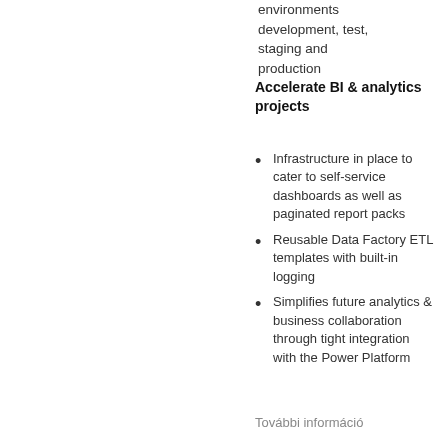environments development, test, staging and production
Accelerate BI & analytics projects
Infrastructure in place to cater to self-service dashboards as well as paginated report packs
Reusable Data Factory ETL templates with built-in logging
Simplifies future analytics & business collaboration through tight integration with the Power Platform
További információ